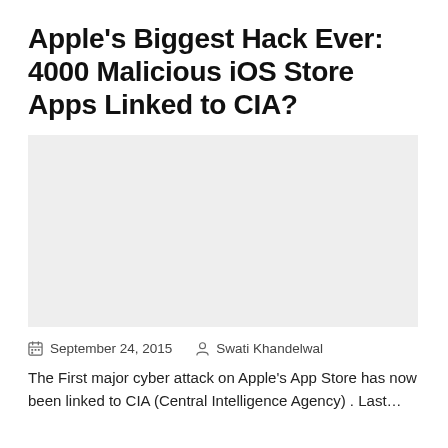Apple's Biggest Hack Ever: 4000 Malicious iOS Store Apps Linked to CIA?
[Figure (photo): Light gray placeholder image rectangle]
September 24, 2015   Swati Khandelwal
The First major cyber attack on Apple's App Store has now been linked to CIA (Central Intelligence Agency) . Last…